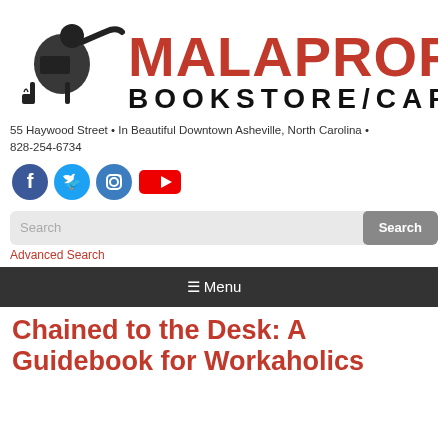[Figure (logo): Malaprop's Bookstore/Cafe logo with illustrated figure reading a book and red text MALAPROP'S in large letters, BOOKSTORE/CAFE below in black]
55 Haywood Street • In Beautiful Downtown Asheville, North Carolina • 828-254-6734
[Figure (infographic): Four social media icons: Facebook (blue circle with f), Twitter (blue circle with bird), Instagram (blue circle with camera), YouTube (red rectangle with play button)]
Search
Advanced Search
☰ Menu
Chained to the Desk: A Guidebook for Workaholics